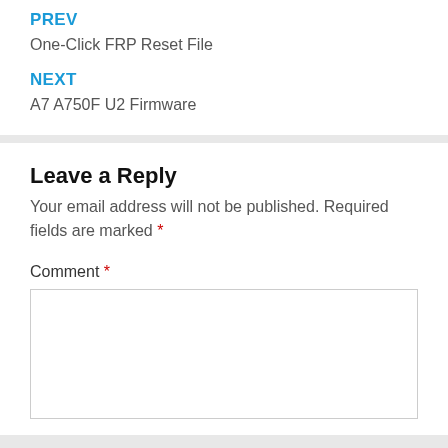PREV
One-Click FRP Reset File
NEXT
A7 A750F U2 Firmware
Leave a Reply
Your email address will not be published. Required fields are marked *
Comment *